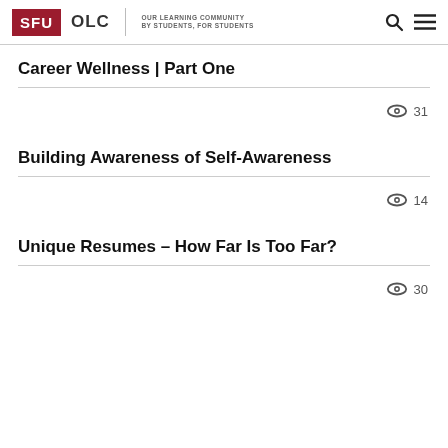[Figure (logo): SFU OLC - Our Learning Community, By Students, For Students logo with search and menu icons]
Career Wellness | Part One
👁 31
Building Awareness of Self-Awareness
👁 14
Unique Resumes – How Far Is Too Far?
👁 30